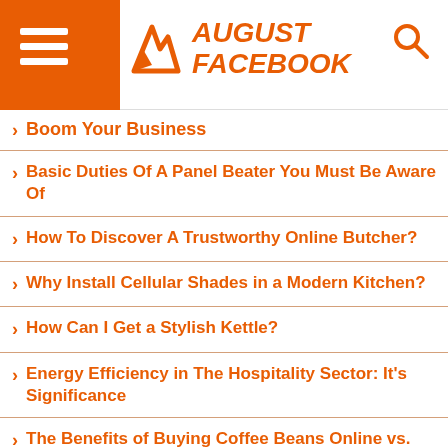August Facebook
Boom Your Business
Basic Duties Of A Panel Beater You Must Be Aware Of
How To Discover A Trustworthy Online Butcher?
Why Install Cellular Shades in a Modern Kitchen?
How Can I Get a Stylish Kettle?
Energy Efficiency in The Hospitality Sector: It's Significance
The Benefits of Buying Coffee Beans Online vs. Buying in Store
Know The Health Benefits Of Medicinal Cannabis
What To Know Before Investing In A Racehorse ?
Why You Might Be Seeing Swirls in Your Vehicle's